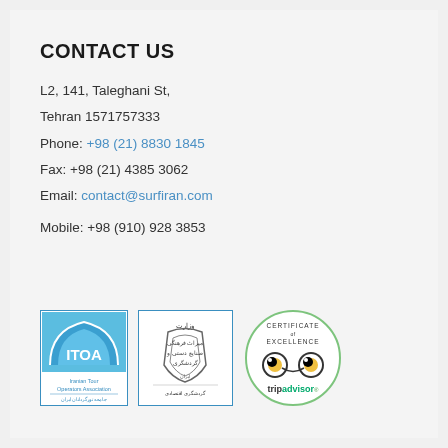CONTACT US
L2, 141, Taleghani St,
Tehran 1571757333
Phone: +98 (21) 8830 1845
Fax: +98 (21) 4385 3062
Email: contact@surfiran.com
Mobile: +98 (910) 928 3853
[Figure (logo): ITOA - Iranian Tour Operators Association logo, blue border with arch design]
[Figure (logo): Iranian Ministry of Cultural Heritage, Tourism and Handicrafts logo with Persian text]
[Figure (logo): TripAdvisor Certificate of Excellence logo with owl eyes icon]